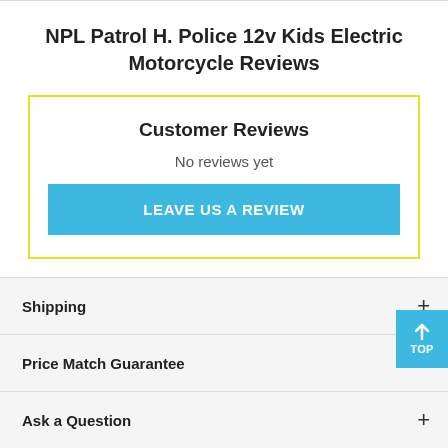NPL Patrol H. Police 12v Kids Electric Motorcycle Reviews
Customer Reviews
No reviews yet
LEAVE US A REVIEW
Shipping +
Price Match Guarantee +
Ask a Question +